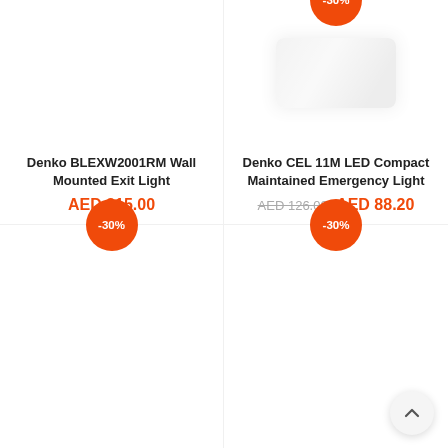[Figure (photo): Product card top-left: Denko BLEXW2001RM Wall Mounted Exit Light, no image shown]
Denko BLEXW2001RM Wall Mounted Exit Light
AED 315.00
[Figure (photo): Product card top-right: Denko CEL 11M LED Compact Maintained Emergency Light, faint product image visible, -30% badge]
Denko CEL 11M LED Compact Maintained Emergency Light
AED 126.00 AED 88.20
[Figure (photo): Product card bottom-left: -30% badge, no product image shown]
[Figure (photo): Product card bottom-right: -30% badge, no product image shown]